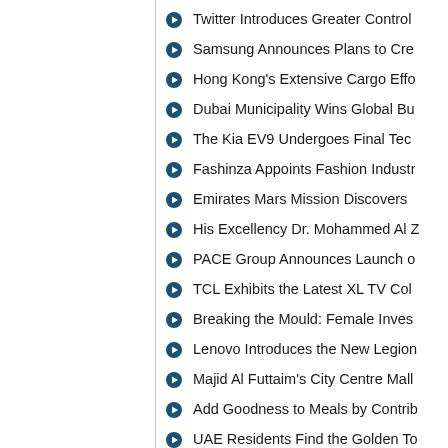Twitter Introduces Greater Control
Samsung Announces Plans to Cre
Hong Kong's Extensive Cargo Effo
Dubai Municipality Wins Global Bu
The Kia EV9 Undergoes Final Tec
Fashinza Appoints Fashion Industr
Emirates Mars Mission Discovers
His Excellency Dr. Mohammed Al Z
PACE Group Announces Launch o
TCL Exhibits the Latest XL TV Col
Breaking the Mould: Female Inves
Lenovo Introduces the New Legion
Majid Al Futtaim's City Centre Mall
Add Goodness to Meals by Contrib
UAE Residents Find the Golden To
Istituto Marangoni Opens at DIFC,